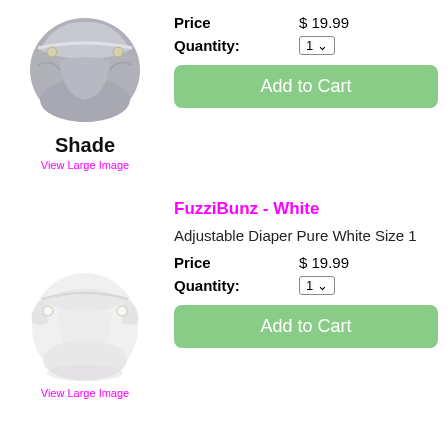[Figure (photo): Gray cloth diaper (Shade color) with snaps, front view]
Shade
View Large Image
Price   $ 19.99
Quantity:   1
Add to Cart
FuzziBunz - White
Adjustable Diaper Pure White Size 1
[Figure (photo): White cloth diaper with snaps, front view]
View Large Image
Price   $ 19.99
Quantity:   1
Add to Cart